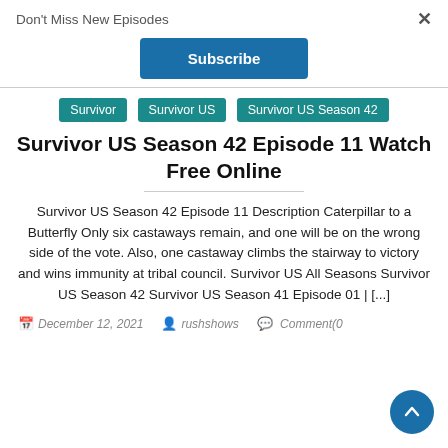Don't Miss New Episodes
×
Subscribe
Survivor
Survivor US
Survivor US Season 42
Survivor US Season 42 Episode 11 Watch Free Online
Survivor US Season 42 Episode 11 Description Caterpillar to a Butterfly Only six castaways remain, and one will be on the wrong side of the vote. Also, one castaway climbs the stairway to victory and wins immunity at tribal council. Survivor US All Seasons Survivor US Season 42 Survivor US Season 41 Episode 01 | [...]
December 12, 2021  rushshows  Comment(0